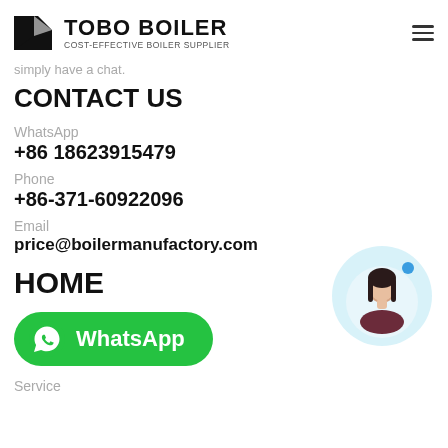TOBO BOILER — COST-EFFECTIVE BOILER SUPPLIER
simply have a chat.
CONTACT US
WhatsApp
+86 18623915479
Phone
+86-371-60922096
Email
price@boilermanufactory.com
HOME
[Figure (logo): Green WhatsApp button with phone icon and 'WhatsApp' text]
[Figure (photo): Customer service representative avatar in a light blue circular bubble with a blue dot]
Service